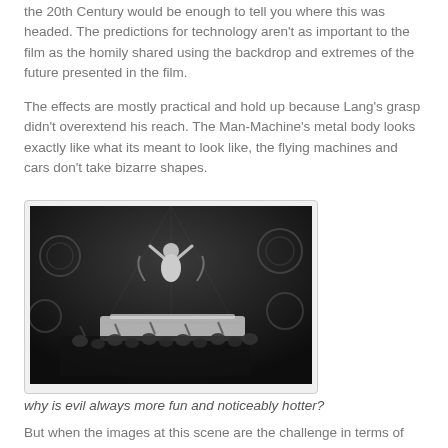the 20th Century would be enough to tell you where this was headed. The predictions for technology aren't as important to the film as the homily shared using the backdrop and extremes of the future presented in the film.
The effects are mostly practical and hold up because Lang's grasp didn't overextend his reach. The Man-Machine's metal body looks exactly like what its meant to look like, the flying machines and cars don't take bizarre shapes.
[Figure (photo): Black and white still from Metropolis showing a figure with arms raised atop an ornate platform or altar, surrounded by a crowd below, with circular decorative elements in the background.]
why is evil always more fun and noticeably hotter?
But when the images at this scene are the challenge in terms of being...